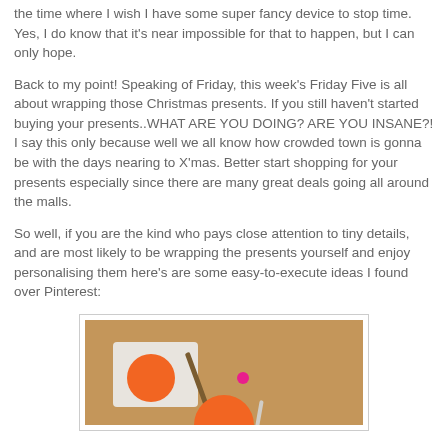the time where I wish I have some super fancy device to stop time. Yes, I do know that it's near impossible for that to happen, but I can only hope.
Back to my point! Speaking of Friday, this week's Friday Five is all about wrapping those Christmas presents. If you still haven't started buying your presents..WHAT ARE YOU DOING? ARE YOU INSANE?! I say this only because well we all know how crowded town is gonna be with the days nearing to X'mas. Better start shopping for your presents especially since there are many great deals going all around the malls.
So well, if you are the kind who pays close attention to tiny details, and are most likely to be wrapping the presents yourself and enjoy personalising them here's are some easy-to-execute ideas I found over Pinterest:
[Figure (photo): A photo showing craft supplies on a brown surface: a white tray with an orange circle (paint or sticker), a wooden stick/brush, a pink dot, and a white stick, with an orange object at the bottom.]